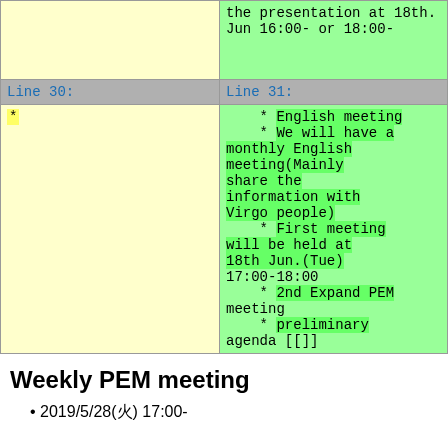| Line 30: | Line 31: |
| --- | --- |
| * | * English meeting
    * We will have a monthly English meeting(Mainly share the information with Virgo people)
    * First meeting will be held at 18th Jun.(Tue) 17:00-18:00
    * 2nd Expand PEM meeting
    * preliminary agenda [[]] |
Weekly PEM meeting
2019/5/28(火) 17:00-